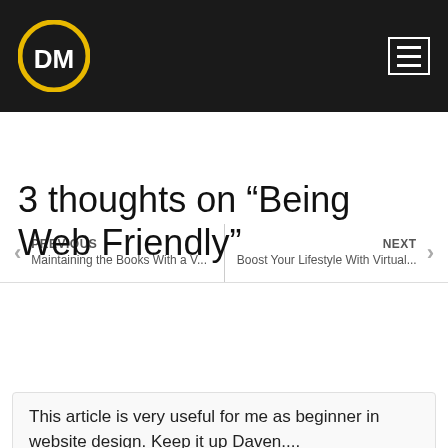DM logo and navigation menu
PREVIOUS
Maintaining the Books With a V...
NEXT
Boost Your Lifestyle With Virtual...
3 thoughts on “Being Web Friendly”
Stefanie
August 1, 2012 at 5:45 pm
This article is very useful for me as beginner in website design. Keep it up Daven....